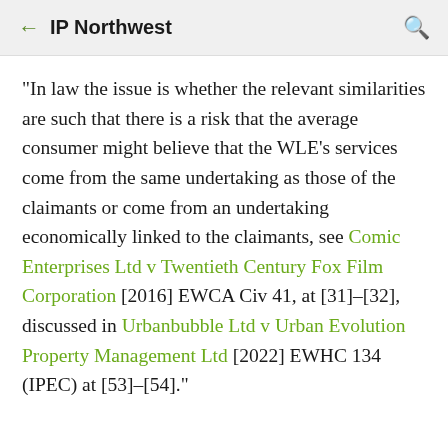IP Northwest
"In law the issue is whether the relevant similarities are such that there is a risk that the average consumer might believe that the WLE’s services come from the same undertaking as those of the claimants or come from an undertaking economically linked to the claimants, see Comic Enterprises Ltd v Twentieth Century Fox Film Corporation [2016] EWCA Civ 41, at [31]–[32], discussed in Urbanbubble Ltd v Urban Evolution Property Management Ltd [2022] EWHC 134 (IPEC) at [53]–[54]."